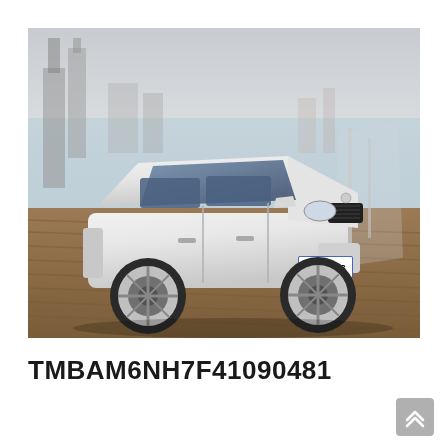[Figure (photo): White Skoda Rapid sedan parked on a wooden boardwalk near a waterfront with a city skyline in the background. License plate reads 3SZ 8428.]
TMBAM6NH7F41090481